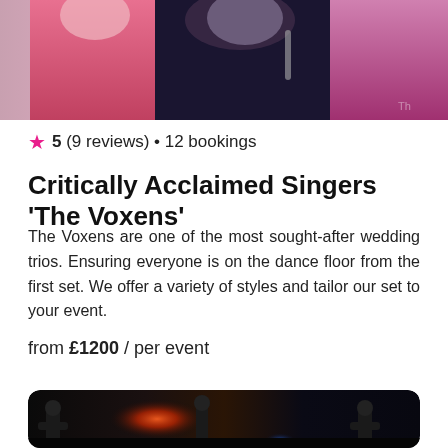[Figure (photo): Photo of The Voxens trio performers, women in pink and dark outfits]
★ 5 (9 reviews) • 12 bookings
Critically Acclaimed Singers 'The Voxens'
The Voxens are one of the most sought-after wedding trios. Ensuring everyone is on the dance floor from the first set. We offer a variety of styles and tailor our set to your event.
from £1200 / per event
[Figure (photo): Band performing on stage with dramatic fire/flame backdrop lighting, multiple guitarists visible]